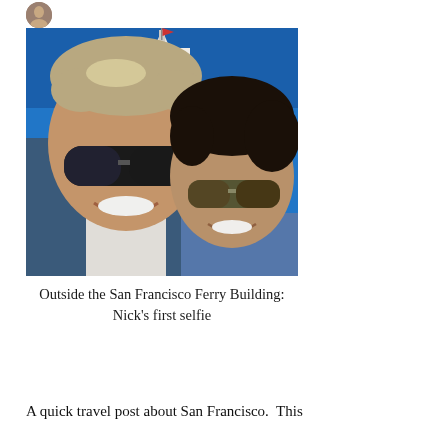[Figure (photo): A selfie of a man and a woman smiling in front of the San Francisco Ferry Building clock tower against a bright blue sky.]
Outside the San Francisco Ferry Building: Nick's first selfie
A quick travel post about San Francisco.  This